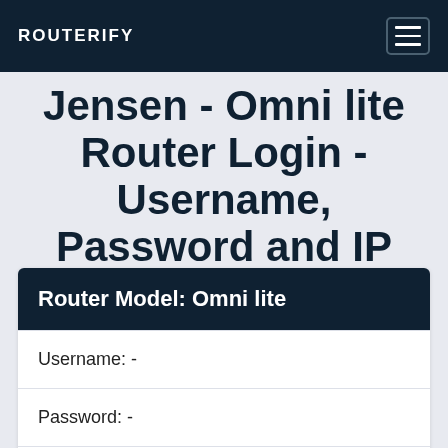ROUTERIFY
Jensen - Omni lite Router Login - Username, Password and IP Address
| Router Model: Omni lite |
| --- |
| Username: - |
| Password: - |
| IP Address: -  Login |